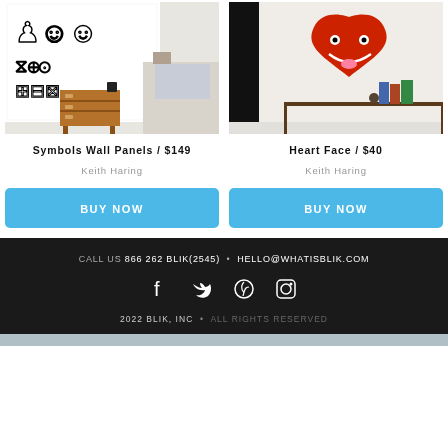[Figure (photo): Photo of a bedroom wall with black and white Keith Haring style doodle wall panels covering the wall, with a wooden dresser and bed visible.]
[Figure (photo): Photo of a room wall with a large red heart face wall decal by Keith Haring mounted above a dark wooden shelf with books.]
Symbols Wall Panels  /  $149
Keith Haring
Heart Face  /  $40
Keith Haring
BUY NOW
BUY NOW
CALL US 866 262 BLIK(2545)  •  HELLO@WHATISBLIK.COM
2022 BLIK, INC  •  ALL RIGHTS RESERVED